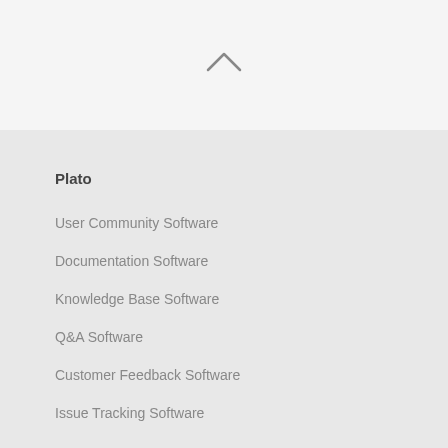[Figure (other): Up chevron/caret navigation icon centered in top bar area]
Plato
User Community Software
Documentation Software
Knowledge Base Software
Q&A Software
Customer Feedback Software
Issue Tracking Software
InstantKB
Help Desk Software